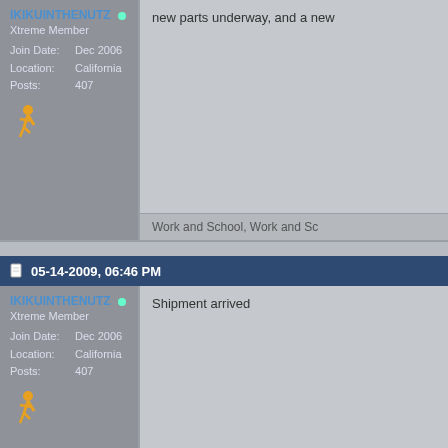IKIKUINTHENUTZ
Xtreme Member
Join Date: Dec 2006
Location: California
Posts: 407
new parts underway, and a new
Work and School, Work and Sc
05-14-2009, 06:46 PM
IKIKUINTHENUTZ
Xtreme Member
Join Date: Dec 2006
Location: California
Posts: 407
Shipment arrived
Work and School, Work and Sc